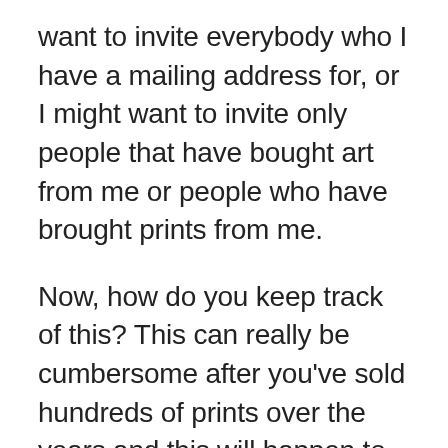want to invite everybody who I have a mailing address for, or I might want to invite only people that have bought art from me or people who have brought prints from me.
Now, how do you keep track of this? This can really be cumbersome after you've sold hundreds of prints over the years and this will happen to you too as long as you keep at it and you're consistent. So what I like to use is a system I call Artwork Archive, and I actually have an affiliate link for you that will give you a discount when you